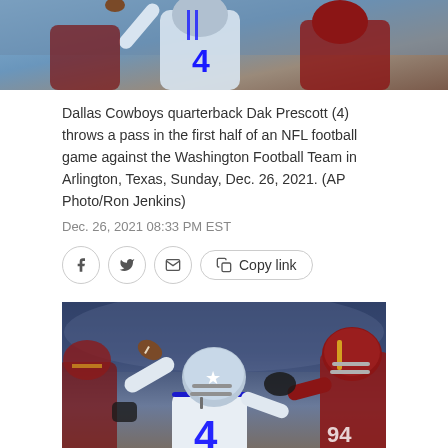[Figure (photo): Top portion of a Dallas Cowboys vs Washington Football Team NFL game photo showing players in action]
Dallas Cowboys quarterback Dak Prescott (4) throws a pass in the first half of an NFL football game against the Washington Football Team in Arlington, Texas, Sunday, Dec. 26, 2021. (AP Photo/Ron Jenkins)
Dec. 26, 2021 08:33 PM EST
[Figure (photo): Dallas Cowboys quarterback Dak Prescott (#4) in white uniform winding up to throw a pass while Washington Football Team defenders in red uniforms rush in from both sides, stadium interior visible in background]